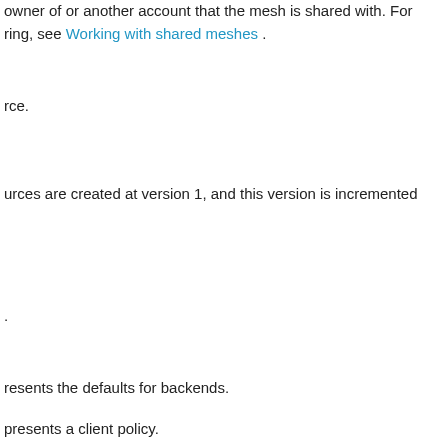owner of or another account that the mesh is shared with. For sharing, see Working with shared meshes .
rce.
urces are created at version 1, and this version is incremented
.
resents the defaults for backends.
presents a client policy.